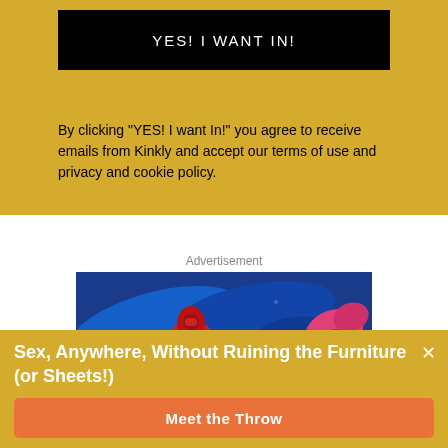YES! I WANT IN!
By clicking "YES! I want In!" you agree to receive emails from Kinkly and accept our terms of use and privacy and cookie policy.
Advertisement
[Figure (photo): Colorful adult products on a blue paint splash background — red, pink, and teal items visible]
Sex, Anywhere, Without Ruining the Furniture (or Sheets!)
Meet the Throw